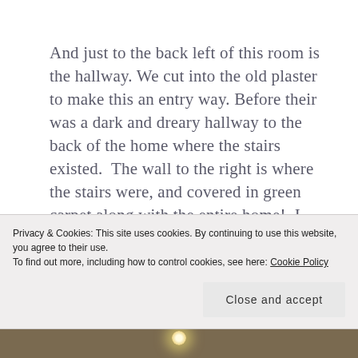And just to the back left of this room is the hallway. We cut into the old plaster to make this an entry way. Before their was a dark and dreary hallway to the back of the home where the stairs existed. The wall to the right is where the stairs were, and covered in green carpet along with the entire home! I know this hallway may look a little funny, but it's a work in progress. The first door on the left is to the basement which before was the only access to go outside. And
Privacy & Cookies: This site uses cookies. By continuing to use this website, you agree to their use.
To find out more, including how to control cookies, see here: Cookie Policy
Close and accept
[Figure (photo): Bottom strip showing partial interior photo with ceiling light visible]